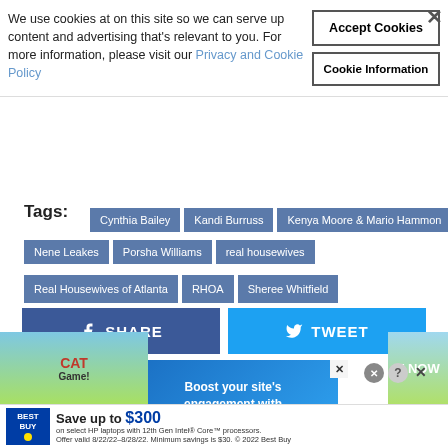We use cookies at on this site so we can serve up content and advertising that's relevant to you. For more information, please visit our Privacy and Cookie Policy
Accept Cookies
Cookie Information
Tags:
Cynthia Bailey
Kandi Burruss
Kenya Moore & Mario Hammon
Nene Leakes
Porsha Williams
real housewives
Real Housewives of Atlanta
RHOA
Sheree Whitfield
SHARE
TWEET
[Figure (screenshot): Advertisement: Boost your site's engagement with]
[Figure (screenshot): Best Buy advertisement: Save up to $300 on select HP laptops with 12th Gen Intel Core processors.]